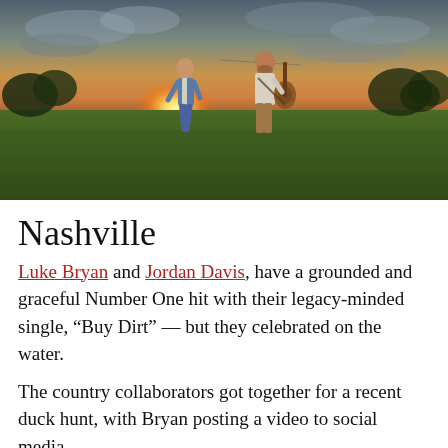[Figure (photo): Two men standing in a green field at sunset/golden hour. The man on the left wears a denim jacket and jeans; the man on the right holds an acoustic guitar and wears a light shirt and tan pants. Trees are visible in the background under a dramatic cloudy sky with warm sunset light.]
Nashville
Luke Bryan and Jordan Davis, have a grounded and graceful Number One hit with their legacy-minded single, “Buy Dirt” — but they celebrated on the water.
The country collaborators got together for a recent duck hunt, with Bryan posting a video to social media.